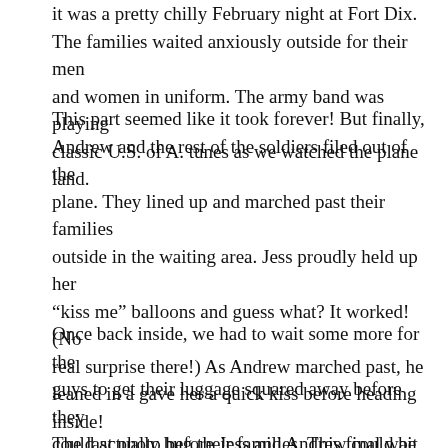it was a pretty chilly February night at Fort Dix. The families waited anxiously outside for their men and women in uniform. The army band was playing classic U.S. of A. tunes as we watched the plane land.
This part seemed like it took forever! But finally, Andrew and the rest of the soldiers filed out of the plane. They lined up and marched past their families outside in the waiting area. Jess proudly held up her “kiss me” balloons and guess what? It worked! (No real surprise there!) As Andrew marched past, he leaned in a gave her a quick kiss before heading inside!
Once back inside, we had to wait some more for the guys to get their luggage squared away before they could actually hug their families. This final wait was totally worth it. It always is.
The last photo before Jess and Andrew could be